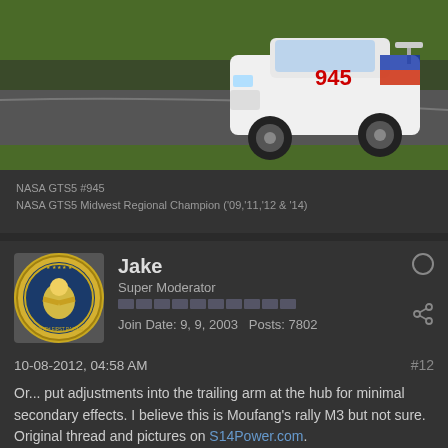[Figure (photo): White BMW E30 M3 race car with number 945 on a racing circuit, with grass in the background. The car has a rear wing and racing livery with red, blue, and white checkered pattern.]
NASA GTS5 #945
NASA GTS5 Midwest Regional Champion ('09,'11,'12 & '14)
Jake
Super Moderator
Join Date: 9, 9, 2003   Posts: 7802
10-08-2012, 04:58 AM
#12
Or... put adjustments into the trailing arm at the hub for minimal secondary effects. I believe this is Moufang's rally M3 but not sure. Original thread and pictures on S14Power.com.